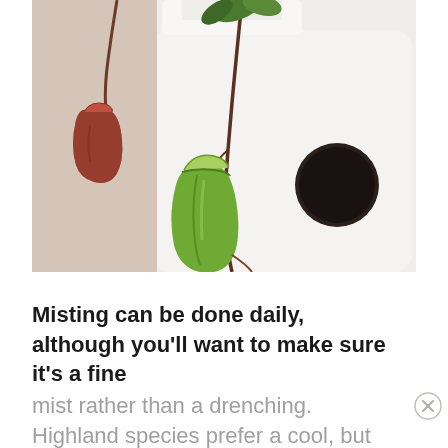[Figure (photo): A close-up photo of Nepenthes (pitcher plants) placed near a white modern cabinet or furniture piece with a circular hole. One large green pitcher hangs on a vine in the center, and a smaller reddish-brown pitcher is visible to the left. Green leaves are seen at the top. The background is a warm beige/white wall.]
Misting can be done daily, although you'll want to make sure it's a fine mist rather than a drenching. Highland species prefer a cool, but